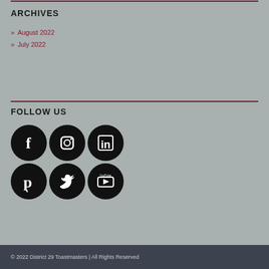ARCHIVES
» August 2022
» July 2022
FOLLOW US
[Figure (other): Six social media icons in a 3x2 grid: Facebook, Instagram, LinkedIn (top row), Pinterest, Twitter, YouTube (bottom row). All icons are white symbols on black circular backgrounds.]
© 2022 District 29 Toastmasters | All Rights Reserved